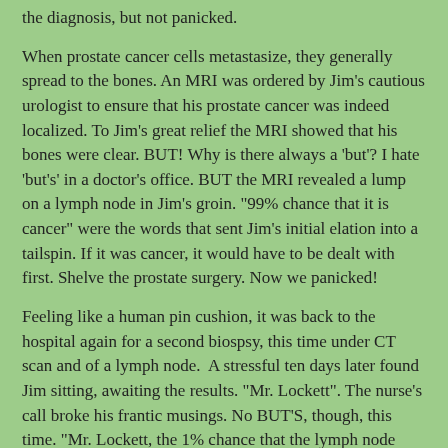the diagnosis, but not panicked.
When prostate cancer cells metastasize, they generally spread to the bones. An MRI was ordered by Jim's cautious urologist to ensure that his prostate cancer was indeed localized. To Jim's great relief the MRI showed that his bones were clear. BUT! Why is there always a 'but'? I hate 'but's' in a doctor's office. BUT the MRI revealed a lump on a lymph node in Jim's groin. "99% chance that it is cancer" were the words that sent Jim's initial elation into a tailspin. If it was cancer, it would have to be dealt with first. Shelve the prostate surgery. Now we panicked!
Feeling like a human pin cushion, it was back to the hospital again for a second biospsy, this time under CT scan and of a lymph node. A stressful ten days later found Jim sitting, awaiting the results. "Mr. Lockett". The nurse's call broke his frantic musings. No BUT'S, though, this time. "Mr. Lockett, the 1% chance that the lymph node would not be cancerous is you!" Elation! Joy! Relief!
Late in October, Jim will undergo a radical prostatectomy. Not something he is looking forward to, especially after his hip revision surgery in March, but with the spectre of a cancerous